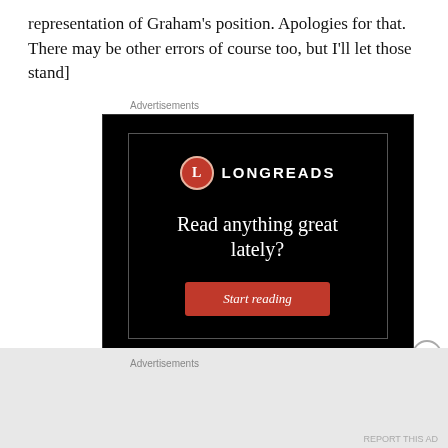representation of Graham's position. Apologies for that. There may be other errors of course too, but I'll let those stand]
Advertisements
[Figure (illustration): Longreads advertisement on black background. Shows Longreads logo (red circle with 'L' and 'LONGREADS' text), headline 'Read anything great lately?' and a red 'Start reading' button.]
Advertisements